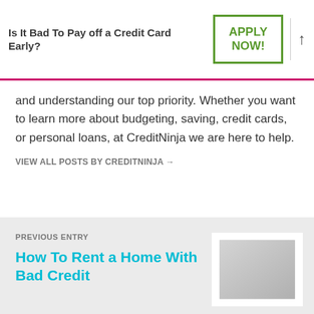Is It Bad To Pay off a Credit Card Early?
and understanding our top priority. Whether you want to learn more about budgeting, saving, credit cards, or personal loans, at CreditNinja we are here to help.
VIEW ALL POSTS BY CREDITNINJA →
PREVIOUS ENTRY
How To Rent a Home With Bad Credit
[Figure (photo): Thumbnail image placeholder for the article 'How To Rent a Home With Bad Credit']